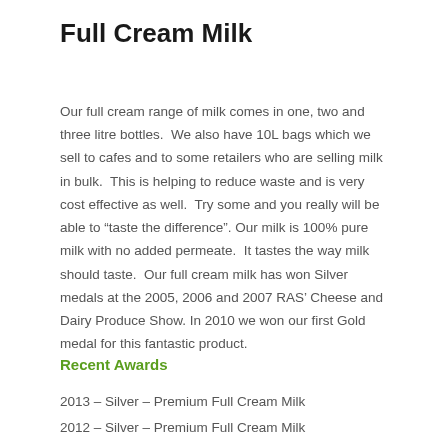Full Cream Milk
Our full cream range of milk comes in one, two and three litre bottles.  We also have 10L bags which we sell to cafes and to some retailers who are selling milk in bulk.  This is helping to reduce waste and is very cost effective as well.  Try some and you really will be able to “taste the difference”. Our milk is 100% pure milk with no added permeate.  It tastes the way milk should taste.  Our full cream milk has won Silver medals at the 2005, 2006 and 2007 RAS’ Cheese and Dairy Produce Show. In 2010 we won our first Gold medal for this fantastic product.
Recent Awards
2013 – Silver – Premium Full Cream Milk
2012 – Silver – Premium Full Cream Milk